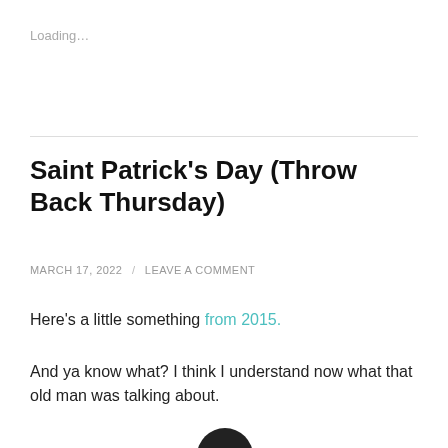Loading…
Saint Patrick’s Day (Throw Back Thursday)
MARCH 17, 2022 / LEAVE A COMMENT
Here’s a little something from 2015.
And ya know what? I think I understand now what that old man was talking about.
[Figure (photo): Partial dark silhouette of a person’s head visible at the bottom of the page]